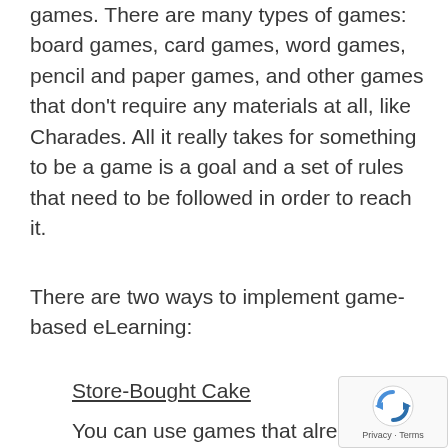games. There are many types of games: board games, card games, word games, pencil and paper games, and other games that don't require any materials at all, like Charades. All it really takes for something to be a game is a goal and a set of rules that need to be followed in order to reach it.
There are two ways to implement game-based eLearning:
Store-Bought Cake
You can use games that already exist to help teach your content. There are plenty of off the shelf games available, both educational and commercial. For instance, Monopoly or